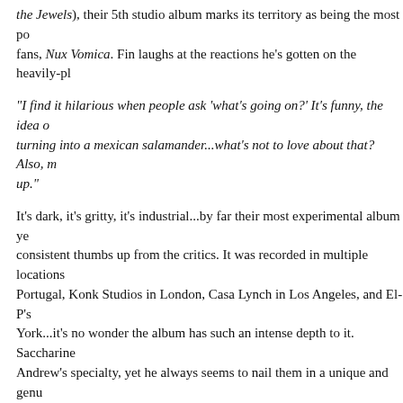the Jewels), their 5th studio album marks its territory as being the most po fans, Nux Vomica. Fin laughs at the reactions he's gotten on the heavily-pl
“I find it hilarious when people ask ‘what’s going on?’ It’s funny, the idea of turning into a mexican salamander...what’s not to love about that? Also, m up.”
It’s dark, it’s gritty, it’s industrial...by far their most experimental album ye consistent thumbs up from the critics. It was recorded in multiple locations Portugal, Konk Studios in London, Casa Lynch in Los Angeles, and El-P’s York...it’s no wonder the album has such an intense depth to it. Saccharine Andrew’s specialty, yet he always seems to nail them in a unique and genu
Opening for the Veils was the cooky and fun-filled Anthonie Tonnon from music is poppy and danceable, I really enjoyed his energy...though it was a an opener for a band like the Veils. Nevertheless the crowd was pretty pum and his obvious Bowie with a hint of Morrissey influence was appropriate Anthonie was recently named in Billboard’s list of ‘New Zealand acts you
The Veils headlined the show. Fin and his bassist, guitarist, drummer and guy graced the stage and opened with the rowdy ‘Here Come the Dead would think it’s about zombies, however it’s more of a simple, apocalyptic with heavy drums and a Nick Cave kind of essence. Fin dons his infa